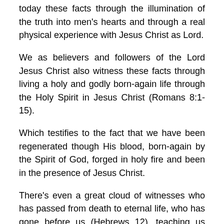today these facts through the illumination of the truth into men's hearts and through a real physical experience with Jesus Christ as Lord.
We as believers and followers of the Lord Jesus Christ also witness these facts through living a holy and godly born-again life through the Holy Spirit in Jesus Christ (Romans 8:1-15).
Which testifies to the fact that we have been regenerated though His blood, born-again by the Spirit of God, forged in holy fire and been in the presence of Jesus Christ.
There's even a great cloud of witnesses who has passed from death to eternal life, who has gone before us (Hebrews 12), teaching us what to do, what not to do, how to live in the Spirit of God.